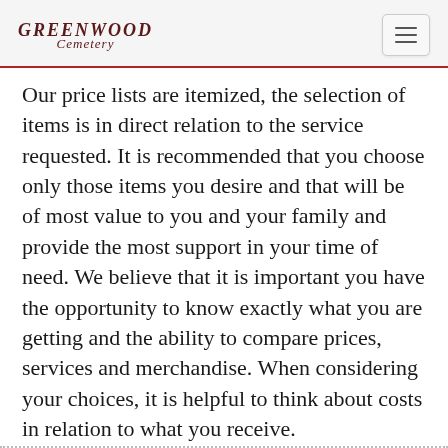GREENWOOD Cemetery
Our price lists are itemized, the selection of items is in direct relation to the service requested. It is recommended that you choose only those items you desire and that will be of most value to you and your family and provide the most support in your time of need. We believe that it is important you have the opportunity to know exactly what you are getting and the ability to compare prices, services and merchandise. When considering your choices, it is helpful to think about costs in relation to what you receive.